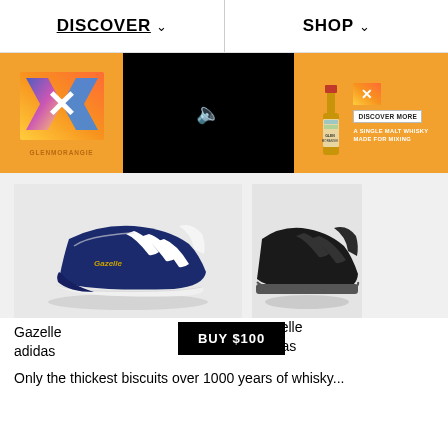DISCOVER  SHOP
[Figure (infographic): Glenmorangie X advertisement banner with orange background, colorful X logo on left, black video panel in center with mute icon, and whisky bottle with 'DISCOVER MORE' button on right. Tagline: 'A SINGLE MALT WHISKY MADE FOR MIXING']
[Figure (photo): Adidas Gazelle sneaker in navy blue with white three stripes and white sole, on light grey background]
[Figure (photo): Adidas Gazelle sneaker in black, partially visible on right edge, on light grey background]
Gazelle
adidas
BUY $100
Gazelle
adidas
Only the thickest biscuits over 1000 years of whisky...